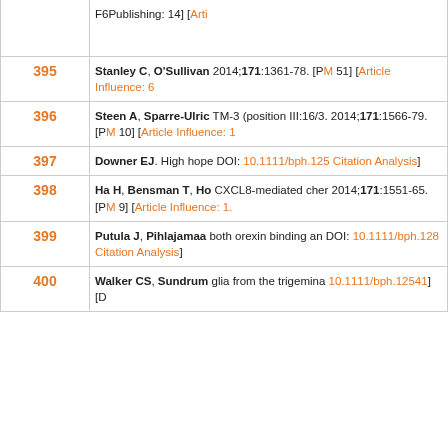| Number | Reference |
| --- | --- |
| (top partial) | F6Publishing: 14] [Arti... |
| 395 | Stanley C, O'Sullivan... 2014;171:1361-78. [PM... 51] [Article Influence: 6... |
| 396 | Steen A, Sparre-Ulric... TM-3 (position III:16/3... 2014;171:1566-79. [PM... 10] [Article Influence: 1... |
| 397 | Downer EJ. High hope... DOI: 10.1111/bph.125... Citation Analysis] |
| 398 | Ha H, Bensman T, Ho... CXCL8-mediated cher... 2014;171:1551-65. [PM... 9] [Article Influence: 1... |
| 399 | Putula J, Pihlajamaa... both orexin binding an... DOI: 10.1111/bph.128... Citation Analysis] |
| 400 | Walker CS, Sundrum... glia from the trigemina... 10.1111/bph.12541] [D... |